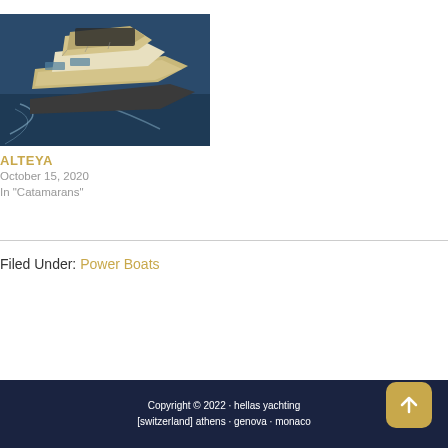[Figure (photo): Aerial view of a luxury catamaran/power boat cruising on dark blue water, modern white and tan design with upper deck]
ALTEYA
October 15, 2020
In "Catamarans"
Filed Under: Power Boats
Copyright © 2022 · hellas yachting [switzerland] athens · genova · monaco